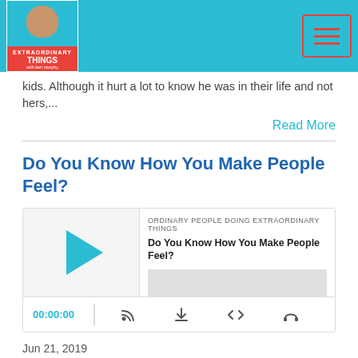Extraordinary Things - podcast header bar with logo and hamburger menu
kids. Although it hurt a lot to know he was in their life and not hers,...
Read More
Do You Know How You Make People Feel?
[Figure (other): Podcast player widget for episode 'Do You Know How You Make People Feel?' from Ordinary People Doing Extraordinary Things, showing play button, progress bar, time display 00:00:00, and control icons]
Jun 21, 2019
In episode 276, it's the Work on Me Weekend segment of the show! Listen for a few minutes as Keri talks about why how you make someone feel says a lot about who you are and how